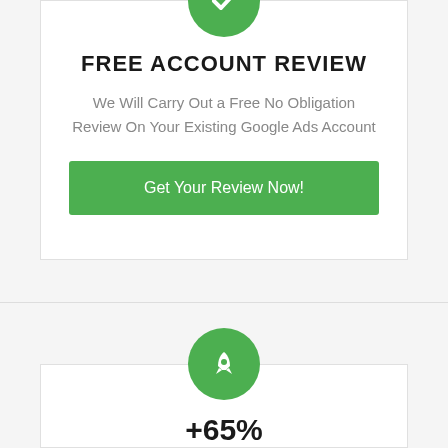[Figure (illustration): Green circle icon with a checkmark/arrow symbol at the top of the free account review card]
FREE ACCOUNT REVIEW
We Will Carry Out a Free No Obligation Review On Your Existing Google Ads Account
Get Your Review Now!
[Figure (illustration): Green circle icon with a rocket symbol at the top of the second card]
+65%
Website Visitors In 1 Year